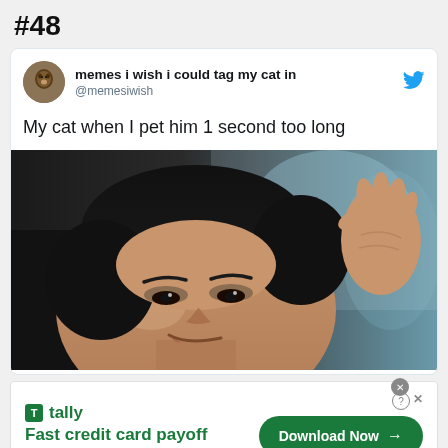#48
memes i wish i could tag my cat in
@memesiwish
My cat when I pet him 1 second too long
[Figure (photo): Close-up of a man with a knowing smirk, raising his hand as if about to slap, from what appears to be a Korean drama or film. The background is blurred blue/teal tones.]
tally
Fast credit card payoff
Download Now →